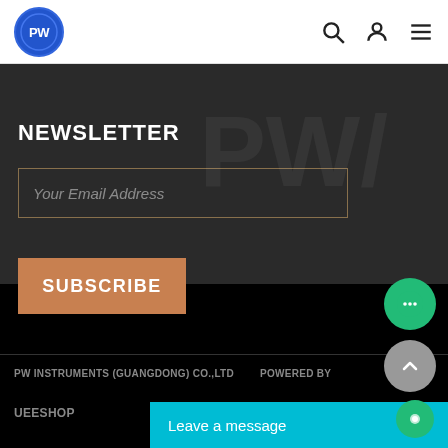[Figure (logo): PW circular logo in blue with white text, header navigation with search, user, and menu icons]
NEWSLETTER
Your Email Address
SUBSCRIBE
PW INSTRUMENTS (GUANGDONG) CO.,LTD   POWERED BY
UEESHOP
Leave a message